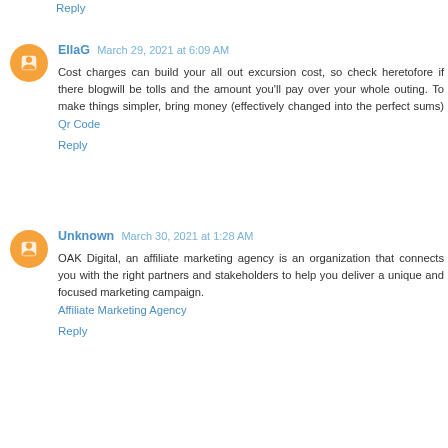Reply
EllaG  March 29, 2021 at 6:09 AM
Cost charges can build your all out excursion cost, so check heretofore if there blogwill be tolls and the amount you'll pay over your whole outing. To make things simpler, bring money (effectively changed into the perfect sums) Qr Code
Reply
Unknown  March 30, 2021 at 1:28 AM
OAK Digital, an affiliate marketing agency is an organization that connects you with the right partners and stakeholders to help you deliver a unique and focused marketing campaign.
Affiliate Marketing Agency
Reply